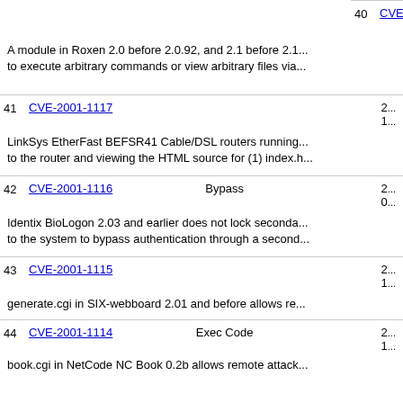40 CVE-2001-1118 Exec Code 2... 0...
A module in Roxen 2.0 before 2.0.92, and 2.1 before 2.1... to execute arbitrary commands or view arbitrary files via...
41 CVE-2001-1117 2... 1...
LinkSys EtherFast BEFSR41 Cable/DSL routers running... to the router and viewing the HTML source for (1) index.h...
42 CVE-2001-1116 Bypass 2... 0...
Identix BioLogon 2.03 and earlier does not lock seconda... to the system to bypass authentication through a second...
43 CVE-2001-1115 2... 1...
generate.cgi in SIX-webboard 2.01 and before allows re...
44 CVE-2001-1114 Exec Code 2... 1...
book.cgi in NetCode NC Book 0.2b allows remote attack...
45 CVE-2001-1113 Exec Code Overflow 2... 1...
Buffer overflow in TrollFTPD 1.26 and earlier allows loca... the ls -R (recursive) command.
46 CVE-2001-1091 +Priv 2...